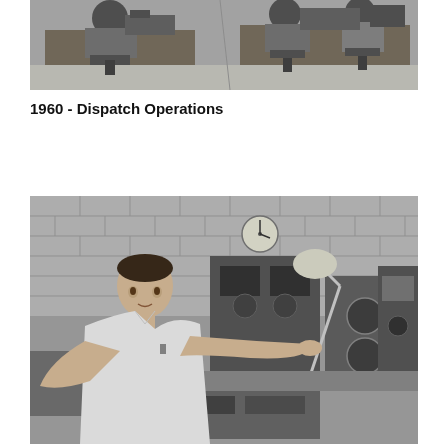[Figure (photo): Black and white photograph of a dispatch operations room, showing two people seated at desks with equipment, viewed from behind, circa 1960.]
1960 - Dispatch Operations
[Figure (photo): Black and white photograph of a young man operating radio/communications equipment at a workbench, with large electronic devices and an articulated lamp arm visible, circa 1960.]